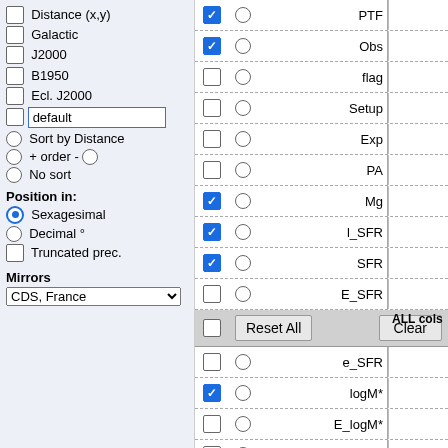[Figure (screenshot): Web form UI - left panel with coordinate system checkboxes and sorting options, right panel with column selection checkboxes and text inputs for fields: PTF, Obs, flag, Setup, Exp, PA, Mg, l_SFR, SFR, E_SFR, Reset All / Clear row, e_SFR, logM*, E_logM*, e_logM*, l_Av]
Distance (x,y)
Galactic
J2000
B1950
Ecl. J2000
default
Sort by Distance
+ order -
No sort
Position in:
Sexagesimal
Decimal °
Truncated prec.
Mirrors
CDS, France